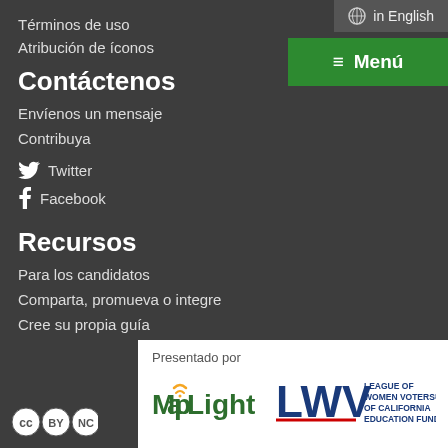in English
Términos de uso
Atribución de íconos
Contáctenos
Envíenos un mensaje
Contribuya
Twitter
Facebook
Recursos
Para los candidatos
Comparta, promueva o integre
Cree su propia guía
Presentado por
[Figure (logo): MapLight logo with WiFi arc over the 'a']
[Figure (logo): League of Women Voters of California Education Fund (LWV) logo with red underline]
[Figure (logo): Creative Commons BY-NC license icons]